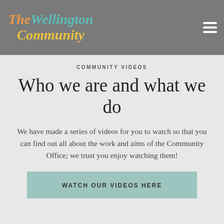The Wellington Community
COMMUNITY VIDEOS
Who we are and what we do
We have made a series of videos for you to watch so that you can find out all about the work and aims of the Community Office; we trust you enjoy watching them!
WATCH OUR VIDEOS HERE